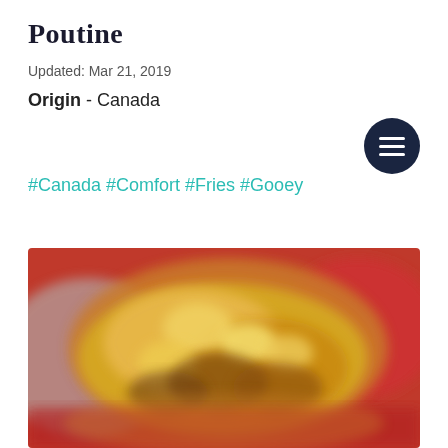Poutine
Updated: Mar 21, 2019
Origin - Canada
#Canada #Comfort #Fries #Gooey
[Figure (photo): A blurry close-up photo of poutine (french fries with cheese curds and gravy) on a red plate or tray]